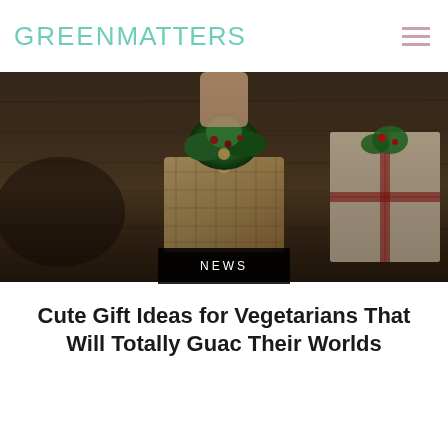GREENMATTERS
[Figure (photo): Overhead view of a rustic burlap gift package with greenery on top, placed on a dark wooden surface. Additional wrapped gifts visible on the right side.]
NEWS
Cute Gift Ideas for Vegetarians That Will Totally Guac Their Worlds